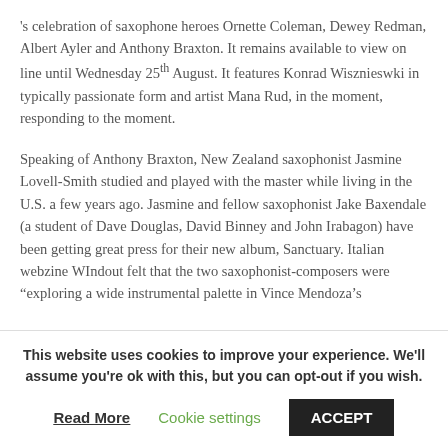's celebration of saxophone heroes Ornette Coleman, Dewey Redman, Albert Ayler and Anthony Braxton. It remains available to view on line until Wednesday 25th August. It features Konrad Wisznieswki in typically passionate form and artist Mana Rud, in the moment, responding to the moment.
Speaking of Anthony Braxton, New Zealand saxophonist Jasmine Lovell-Smith studied and played with the master while living in the U.S. a few years ago. Jasmine and fellow saxophonist Jake Baxendale (a student of Dave Douglas, David Binney and John Irabagon) have been getting great press for their new album, Sanctuary. Italian webzine WIndout felt that the two saxophonist-composers were "exploring a wide instrumental palette in Vince Mendoza's
This website uses cookies to improve your experience. We'll assume you're ok with this, but you can opt-out if you wish.
Read More   Cookie settings   ACCEPT